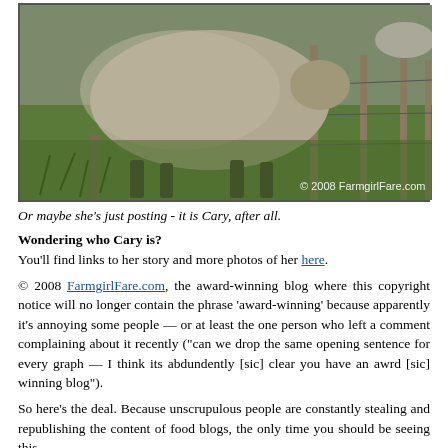[Figure (photo): A sheep standing in grass near a wire fence, photographed from behind/side. Watermark reads '© 2008 FarmgirlFare.com' in lower right corner.]
Or maybe she's just posting - it is Cary, after all.
Wondering who Cary is?
You'll find links to her story and more photos of her here.
© 2008 FarmgirlFare.com, the award-winning blog where this copyright notice will no longer contain the phrase 'award-winning' because apparently it's annoying some people — or at least the one person who left a comment complaining about it recently ("can we drop the same opening sentence for every graph — I think its abdundently [sic] clear you have an awrd [sic] winning blog").
So here's the deal. Because unscrupulous people are constantly stealing and republishing the content of food blogs, the only time you should be seeing this